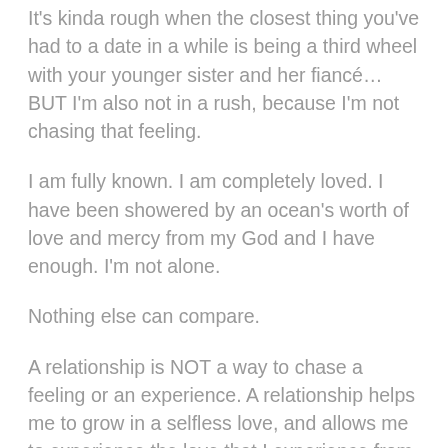It's kinda rough when the closest thing you've had to a date in a while is being a third wheel with your younger sister and her fiancé… BUT I'm also not in a rush, because I'm not chasing that feeling.
I am fully known. I am completely loved. I have been showered by an ocean's worth of love and mercy from my God and I have enough. I'm not alone.
Nothing else can compare.
A relationship is NOT a way to chase a feeling or an experience. A relationship helps me to grow in a selfless love, and allows me to experience the love that I experience from God in a very tangible